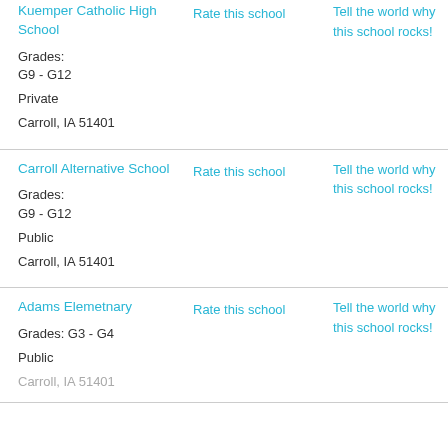| School | Rating | Review |
| --- | --- | --- |
| Kuemper Catholic High School
Grades: G9 - G12
Private
Carroll, IA 51401 | Rate this school | Tell the world why this school rocks! |
| Carroll Alternative School
Grades: G9 - G12
Public
Carroll, IA 51401 | Rate this school | Tell the world why this school rocks! |
| Adams Elemetnary
Grades: G3 - G4
Public
Carroll, IA 51401 | Rate this school | Tell the world why this school rocks! |